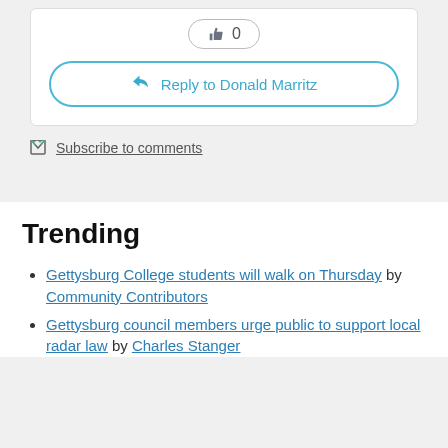[Figure (other): Like button with thumbs up icon showing count 0]
Reply to Donald Marritz
Subscribe to comments
Trending
Gettysburg College students will walk on Thursday by Community Contributors
Gettysburg council members urge public to support local radar law by Charles Stanger